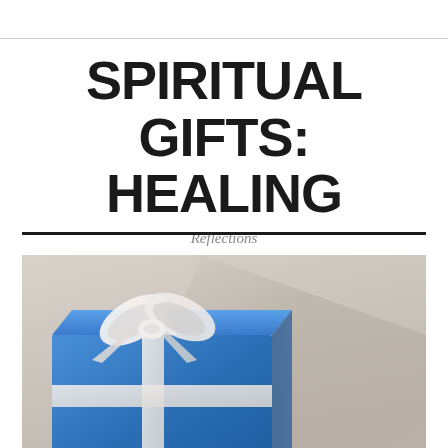SPIRITUAL GIFTS: HEALING
Reflections
[Figure (photo): A blue gift box wrapped with a white ribbon bow, placed on a gray surface with soft shadows in the background.]